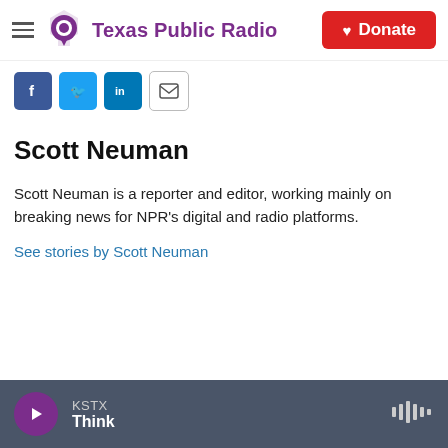Texas Public Radio — Donate
[Figure (screenshot): Social share icons: Facebook, Twitter, LinkedIn, Email]
Scott Neuman
Scott Neuman is a reporter and editor, working mainly on breaking news for NPR's digital and radio platforms.
See stories by Scott Neuman
KSTX — Think (player bar)